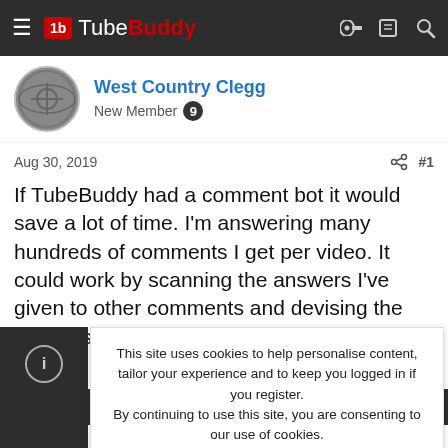TubeBuddy
West Country Clegg
New Member
Aug 30, 2019  #1
If TubeBuddy had a comment bot it would save a lot of time. I'm answering many hundreds of comments I get per video. It could work by scanning the answers I've given to other comments and devising the answers the comment bot could come up with.
Error
This site uses cookies to help personalise content, tailor your experience and to keep you logged in if you register.
By continuing to use this site, you are consenting to our use of cookies.
ACCEPT  LEARN MORE